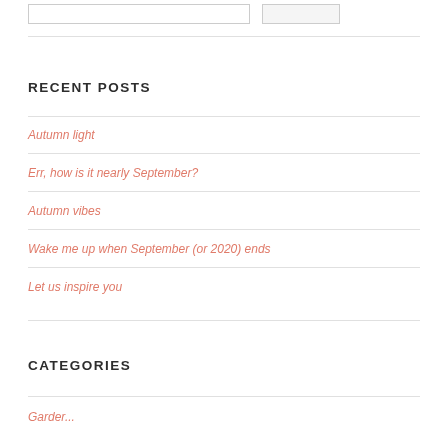RECENT POSTS
Autumn light
Err, how is it nearly September?
Autumn vibes
Wake me up when September (or 2020) ends
Let us inspire you
CATEGORIES